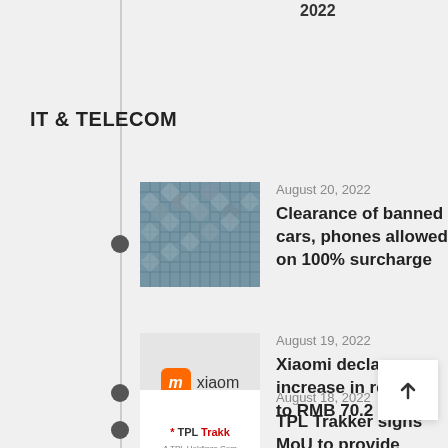2022
IT & TELECOM
August 20, 2022 — Clearance of banned cars, phones allowed on 100% surcharge
August 19, 2022 — Xiaomi declares increase in revenue to RMB 70.2 billion
August 18, 2022 — TPL Trakker signs MoU to provide satellite images